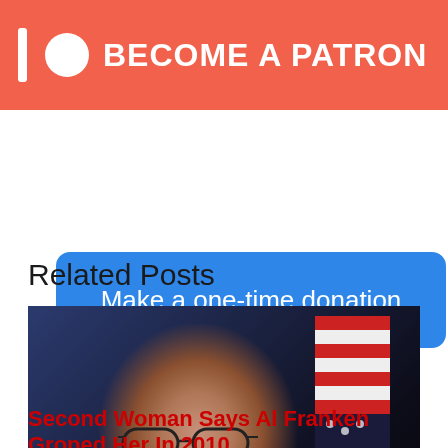[Figure (infographic): Patreon banner with logo circle, vertical bar, and BECOME A PATRON text on coral/red background]
[Figure (infographic): Blue rounded button with text Make a one-time donation]
Related Posts
[Figure (photo): Photo of Al Franken smiling, wearing glasses and dark suit with pink tie, in front of a blue sign background and American flag]
Second Woman Says Al Franken Groped Her In 2010